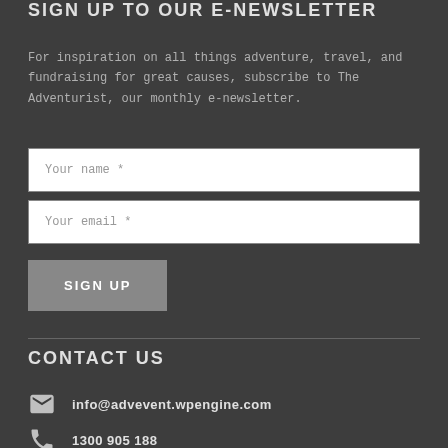SIGN UP TO OUR E-NEWSLETTER
For inspiration on all things adventure, travel, and fundraising for great causes, subscribe to The Adventurist, our monthly e-newsletter.
[Figure (other): Web form with two text input fields labeled 'Your name *' and 'Your email *', and a SIGN UP button]
CONTACT US
info@advevent.wpengine.com
1300 905 188